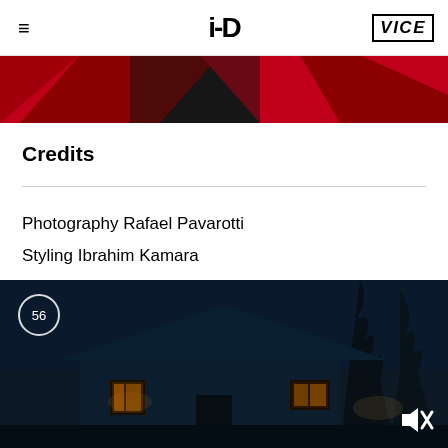i-D | VICE
[Figure (photo): Red and black abstract banner image at top of article]
Credits
Photography Rafael Pavarotti
Styling Ibrahim Kamara
[Figure (logo): i-D magazine logo watermark in black]
[Figure (photo): Dark nighttime photo of a house with lights in windows, with video player controls showing 56 and a mute icon]